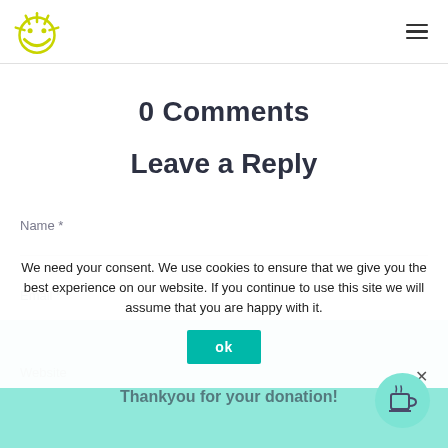0 Comments
Leave a Reply
Name *
Email *
Website
We need your consent. We use cookies to ensure that we give you the best experience on our website. If you continue to use this site we will assume that you are happy with it.
Thankyou for your donation!